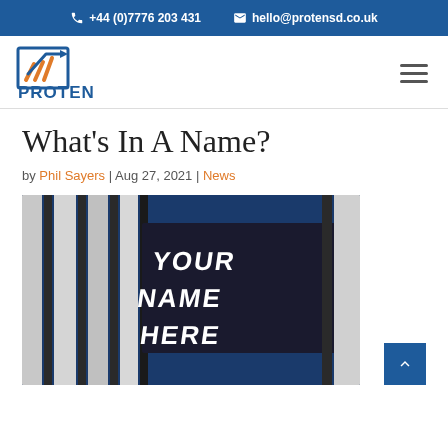+44 (0)7776 203 431  hello@protensd.co.uk
[Figure (logo): Proten Sales Development logo — orange and blue arrow/chart graphic with text PROTEN SALES DEVELOPMENT]
What's In A Name?
by Phil Sayers | Aug 27, 2021 | News
[Figure (photo): Looking up at a tall modern office building facade with white panels and dark window columns. A large sign on the building reads YOUR NAME HERE in white bold letters on a dark background against a clear blue sky.]